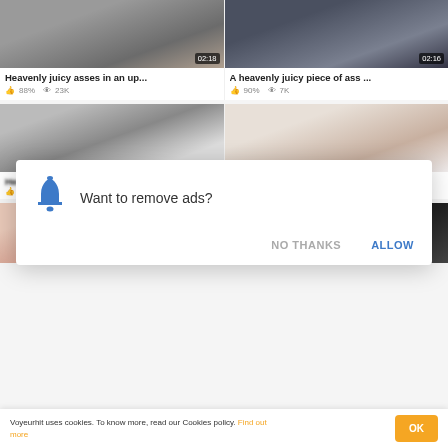[Figure (screenshot): Video thumbnail showing street scene, duration 02:18]
Heavenly juicy asses in an up...
88%  23K
[Figure (screenshot): Video thumbnail showing close-up scene, duration 02:16]
A heavenly juicy piece of ass ...
90%  7K
[Figure (screenshot): Video thumbnail row 2 left, blurred title]
77%  44K  HD
[Figure (screenshot): Video thumbnail row 2 right, blurred title]
83%  16K  HD
[Figure (screenshot): Video thumbnail row 3 left, pink tones]
[Figure (screenshot): Video thumbnail row 3 right, dark tones]
Want to remove ads?
NO THANKS
ALLOW
Voyeurhit uses cookies. To know more, read our Cookies policy. Find out more
OK